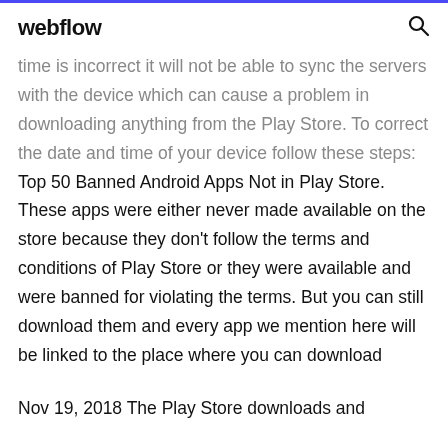webflow
time is incorrect it will not be able to sync the servers with the device which can cause a problem in downloading anything from the Play Store. To correct the date and time of your device follow these steps: Top 50 Banned Android Apps Not in Play Store. These apps were either never made available on the store because they don't follow the terms and conditions of Play Store or they were available and were banned for violating the terms. But you can still download them and every app we mention here will be linked to the place where you can download
Nov 19, 2018 The Play Store downloads and